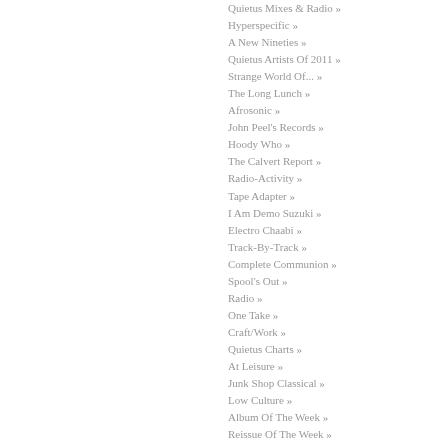Quietus Mixes & Radio »
Hyperspecific »
A New Nineties »
Quietus Artists Of 2011 »
Strange World Of... »
The Long Lunch »
Afrosonic »
John Peel's Records »
Hoody Who »
The Calvert Report »
Radio-Activity »
Tape Adapter »
I Am Demo Suzuki »
Electro Chaabi »
Track-By-Track »
Complete Communion »
Spool's Out »
Radio »
One Take »
Craft/Work »
Quietus Charts »
At Leisure »
Junk Shop Classical »
Low Culture »
Album Of The Week »
Reissue Of The Week »
Opinion
Black Sky Thinking »
In Defence Of... »
Mr Agreeable »